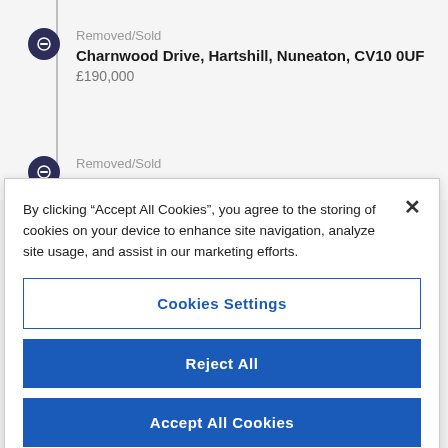Removed/Sold
Charnwood Drive, Hartshill, Nuneaton, CV10 0UF
£190,000
Removed/Sold
By clicking “Accept All Cookies”, you agree to the storing of cookies on your device to enhance site navigation, analyze site usage, and assist in our marketing efforts.
Cookies Settings
Reject All
Accept All Cookies